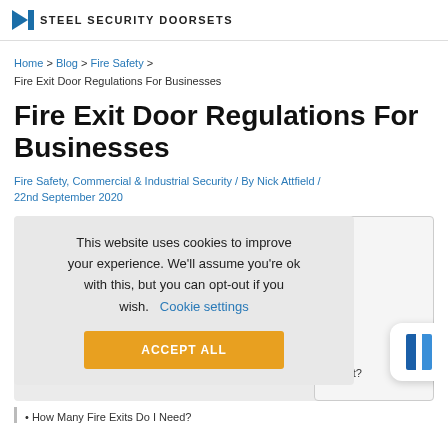STEEL SECURITY DOORSETS
Home > Blog > Fire Safety > Fire Exit Door Regulations For Businesses
Fire Exit Door Regulations For Businesses
Fire Safety, Commercial & Industrial Security / By Nick Attfield / 22nd September 2020
This website uses cookies to improve your experience. We'll assume you're ok with this, but you can opt-out if you wish. Cookie settings
ACCEPT ALL
e exit?
How Many Fire Exits Do I Need?